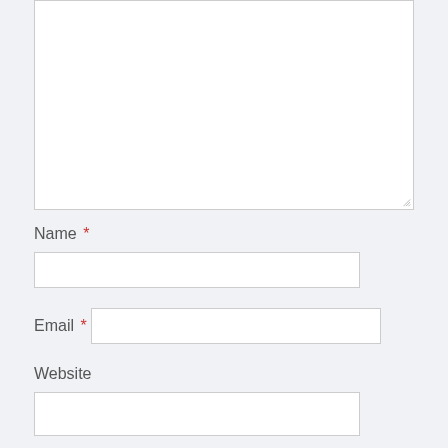[Figure (screenshot): Large empty textarea input field with resize handle at bottom-right corner]
Name *
[Figure (screenshot): Text input field for Name]
Email *
[Figure (screenshot): Text input field for Email]
Website
[Figure (screenshot): Text input field for Website]